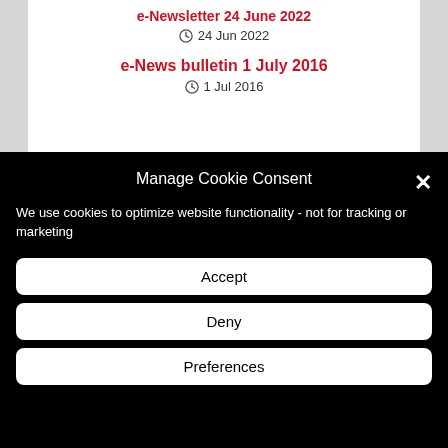e-Newsletter 24 June 2022
24 Jun 2022
e-News bulletin 1 July 2016
1 Jul 2016
Manage Cookie Consent
We use cookies to optimize website functionality - not for tracking or marketing
Accept
Deny
Preferences